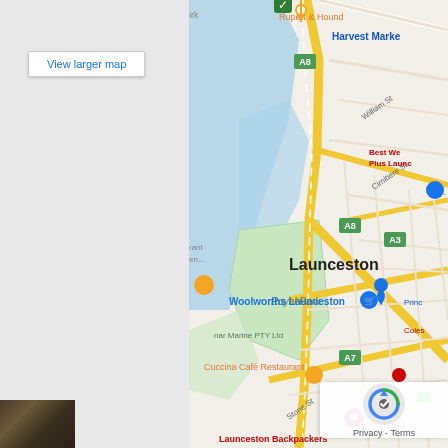[Figure (map): Google Maps screenshot showing Launceston, Tasmania, Australia. The map shows Royal Park, major roads including A8 and A3 routes, Woolworths Launceston, Cuccina Cafe Restaurant, Rupert & Hound, Harvest Market, Best Western Plus Launceston, Cimitiere St, William St, Stone St, and Launceston Backpackers. Map pins for various businesses are visible including orange, blue, pink, and green markers.]
View larger map